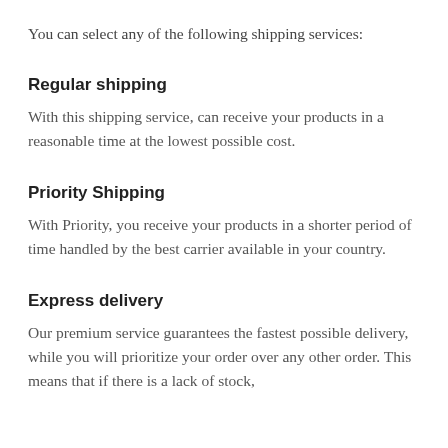You can select any of the following shipping services:
Regular shipping
With this shipping service, can receive your products in a reasonable time at the lowest possible cost.
Priority Shipping
With Priority, you receive your products in a shorter period of time handled by the best carrier available in your country.
Express delivery
Our premium service guarantees the fastest possible delivery, while you will prioritize your order over any other order. This means that if there is a lack of stock,